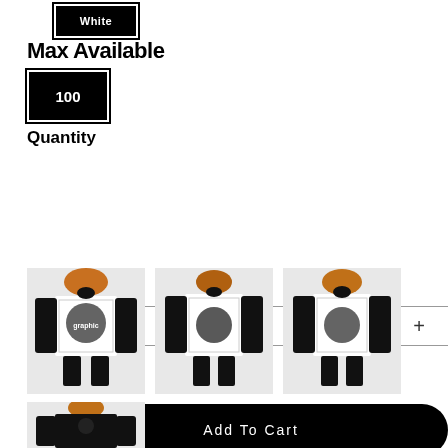[Figure (other): White color option button - black rectangle with white text 'White']
Max Available
100
Quantity
[Figure (other): Quantity stepper control showing minus button, value 1, plus button]
[Figure (other): Add To Cart button - black pill-shaped button with white text]
[Figure (photo): Front view of male model wearing hoodie with graphic print on white body and black sleeves, orange hood, black face mask]
[Figure (photo): Front view of male model wearing same hoodie - slightly different angle]
[Figure (photo): Front view of male model wearing same hoodie - third angle]
[Figure (photo): Back view of male model wearing black hoodie with small graphic on back, orange hood]